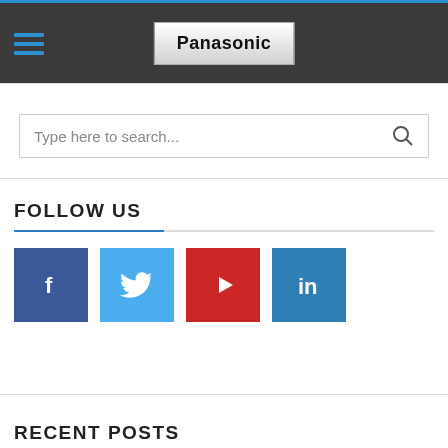Panasonic
Type here to search...
FOLLOW US
[Figure (logo): Facebook icon - dark blue square with white f]
[Figure (logo): Twitter icon - light blue square with white bird]
[Figure (logo): YouTube icon - red square with white play button]
[Figure (logo): LinkedIn icon - blue square with white in]
RECENT POSTS